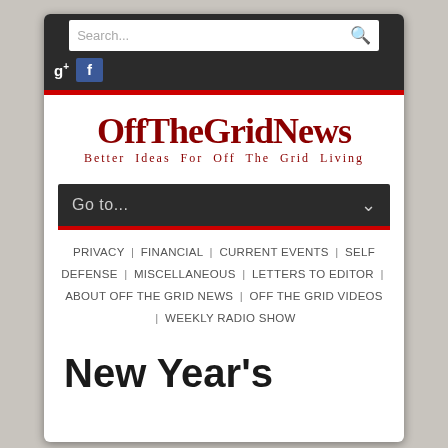[Figure (screenshot): Mobile screenshot of OffTheGridNews website showing search bar, Google+ and Facebook social icons, red accent line, site logo with tagline 'Better Ideas For Off The Grid Living', navigation dropdown 'Go to...', navigation links including PRIVACY, FINANCIAL, CURRENT EVENTS, SELF DEFENSE, MISCELLANEOUS, LETTERS TO EDITOR, ABOUT OFF THE GRID NEWS, OFF THE GRID VIDEOS, WEEKLY RADIO SHOW, and the beginning of an article title 'New Year's']